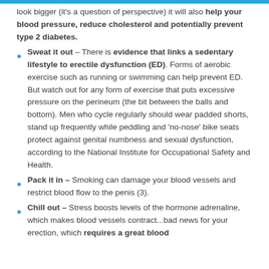look bigger (it's a question of perspective) it will also help your blood pressure, reduce cholesterol and potentially prevent type 2 diabetes.
Sweat it out – There is evidence that links a sedentary lifestyle to erectile dysfunction (ED). Forms of aerobic exercise such as running or swimming can help prevent ED. But watch out for any form of exercise that puts excessive pressure on the perineum (the bit between the balls and bottom). Men who cycle regularly should wear padded shorts, stand up frequently while peddling and 'no-nose' bike seats protect against genital numbness and sexual dysfunction, according to the National Institute for Occupational Safety and Health.
Pack it in – Smoking can damage your blood vessels and restrict blood flow to the penis (3).
Chill out – Stress boosts levels of the hormone adrenaline, which makes blood vessels contract...bad news for your erection, which requires a great blood